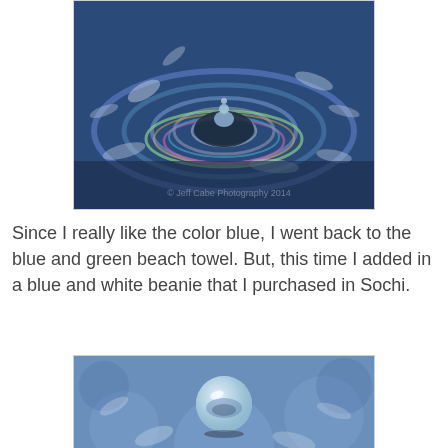[Figure (photo): Close-up macro photograph of a water drop impact creating circular ripples on a blue surface with colorful iridescent patterns. Watermark reads '© Jeff Cabe Photography 2014'.]
Since I really like the color blue, I went back to the blue and green beach towel. But, this time I added in a blue and white beanie that I purchased in Sochi.
[Figure (photo): Close-up macro photograph of a single spherical water droplet suspended above a blue surface, reflecting colorful patterns inside the sphere.]